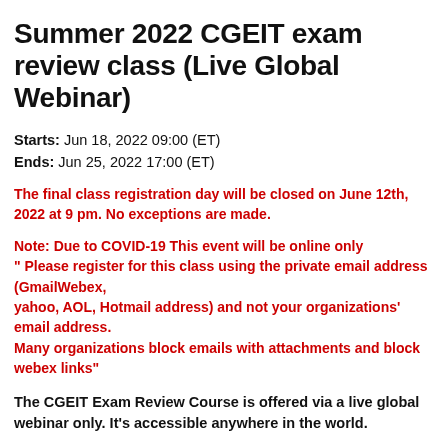Summer 2022 CGEIT exam review class (Live Global Webinar)
Starts:  Jun 18, 2022 09:00 (ET)
Ends:  Jun 25, 2022 17:00 (ET)
The final class registration day will be closed on June 12th, 2022 at 9 pm. No exceptions are made.
Note:  Due to COVID-19 This event will be online only
" Please register for this class using the private email address (GmailWebex,
yahoo, AOL, Hotmail address) and not your organizations' email address.
Many organizations block emails with attachments and block webex links"
The CGEIT Exam Review Course is offered via a live global webinar only. It's accessible anywhere in the world.
Dates and Times:  All times are New York time (Eastern Standard